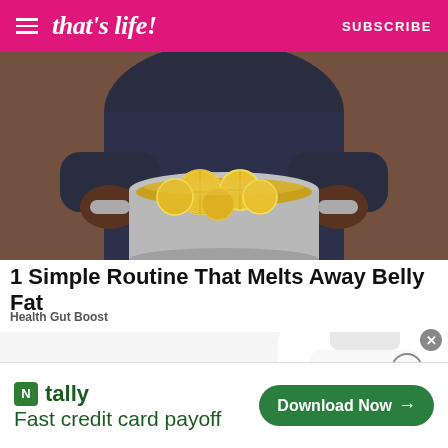that's life! SUBSCRIBE
[Figure (photo): Person in dark dotted shirt holding a stainless steel pot filled with sliced lemons in liquid]
1 Simple Routine That Melts Away Belly Fat
Health Gut Boost
[Figure (photo): Supplement bottle labeled MINDFULLYROBUST, partially visible]
[Figure (screenshot): Advertisement banner: Tally app - Fast credit card payoff, with Download Now button]